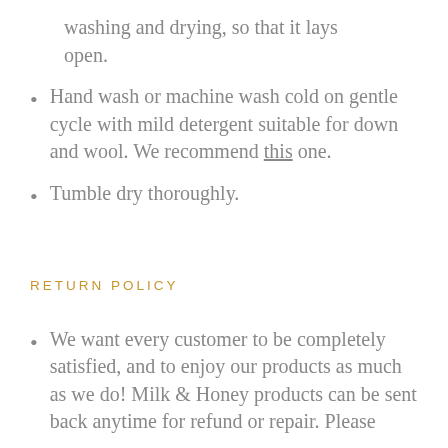to the bottom of the sleep sack for washing and drying, so that it lays open.
Hand wash or machine wash cold on gentle cycle with mild detergent suitable for down and wool. We recommend this one.
Tumble dry thoroughly.
RETURN POLICY
We want every customer to be completely satisfied, and to enjoy our products as much as we do! Milk & Honey products can be sent back anytime for refund or repair. Please